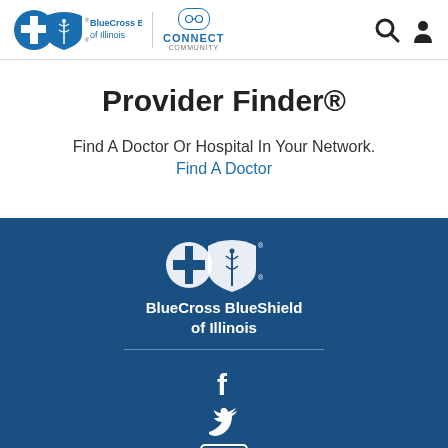[Figure (logo): BlueCross BlueShield of Illinois logo with blue cross and blue shield icons in header, plus CONNECT COMMUNITY text with chain link icon]
Provider Finder®
Find A Doctor Or Hospital In Your Network.
Find A Doctor
[Figure (logo): BlueCross BlueShield of Illinois white logo on dark blue background in footer]
[Figure (infographic): Social media icons: Facebook, Twitter, YouTube on dark blue background]